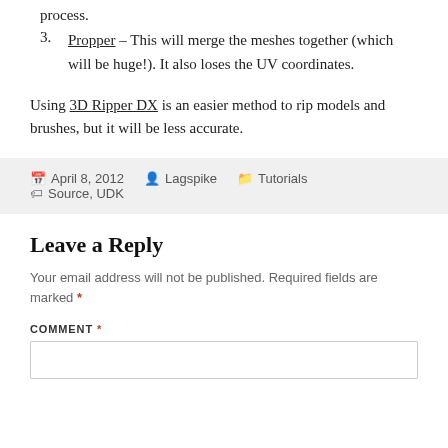process.
Propper – This will merge the meshes together (which will be huge!). It also loses the UV coordinates.
Using 3D Ripper DX is an easier method to rip models and brushes, but it will be less accurate.
April 8, 2012  Lagspike  Tutorials  Source, UDK
Leave a Reply
Your email address will not be published. Required fields are marked *
COMMENT *